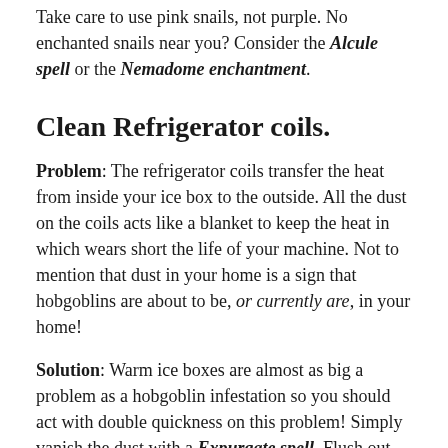Take care to use pink snails, not purple. No enchanted snails near you? Consider the Alcule spell or the Nemadome enchantment.
Clean Refrigerator coils.
Problem: The refrigerator coils transfer the heat from inside your ice box to the outside. All the dust on the coils acts like a blanket to keep the heat in which wears short the life of your machine. Not to mention that dust in your home is a sign that hobgoblins are about to be, or currently are, in your home!
Solution: Warm ice boxes are almost as big a problem as a hobgoblin infestation so you should act with double quickness on this problem! Simply vanish the dust with a Expurgate spell. Flush out any residing hobgoblins with a Lixiviate spell. Then make a protective circle around you home with a Circumpscription Casting.